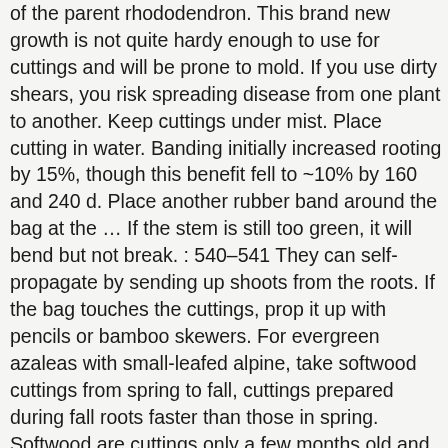of the parent rhododendron. This brand new growth is not quite hardy enough to use for cuttings and will be prone to mold. If you use dirty shears, you risk spreading disease from one plant to another. Keep cuttings under mist. Place cutting in water. Banding initially increased rooting by 15%, though this benefit fell to ~10% by 160 and 240 d. Place another rubber band around the bag at the … If the stem is still too green, it will bend but not break. : 540–541 They can self-propagate by sending up shoots from the roots. If the bag touches the cuttings, prop it up with pencils or bamboo skewers. For evergreen azaleas with small-leafed alpine, take softwood cuttings from spring to fall, cuttings prepared during fall roots faster than those in spring. Softwood are cuttings only a few months old and require a propogating frame to grow, plus rooting powder. Get the inside information you need to turn your passion into profits and generate a nice side income in your spare time. Softwood cuttings were collected on 14 June, 2016, treated with NAA and IBA and evaluated. 9 May, 2010 . This is because they